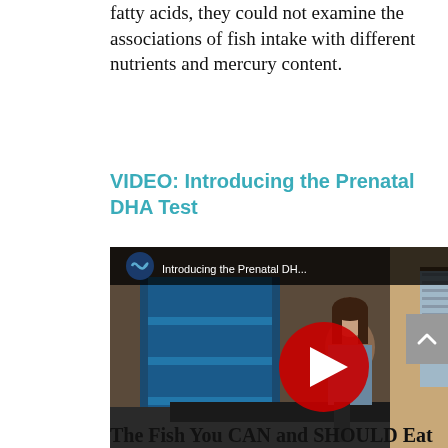fatty acids, they could not examine the associations of fish intake with different nutrients and mercury content.
VIDEO: Introducing the Prenatal DHA Test
[Figure (screenshot): YouTube video thumbnail showing a woman sitting in a laboratory/office setting with blue shelving units in the background. Video title reads 'Introducing the Prenatal DH...' with a red YouTube play button overlay. The video channel logo (infinity/loop icon) appears in the upper left.]
The Fish You CAN and SHOULD Eat